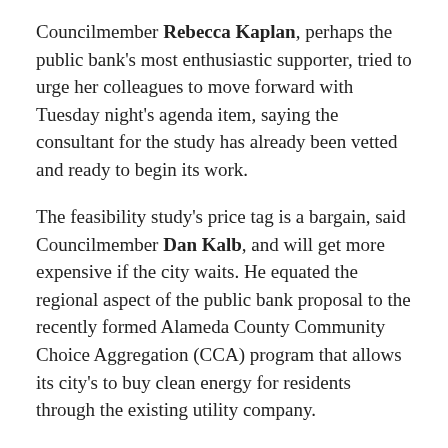Councilmember Rebecca Kaplan, perhaps the public bank's most enthusiastic supporter, tried to urge her colleagues to move forward with Tuesday night's agenda item, saying the consultant for the study has already been vetted and ready to begin its work.
The feasibility study's price tag is a bargain, said Councilmember Dan Kalb, and will get more expensive if the city waits. He equated the regional aspect of the public bank proposal to the recently formed Alameda County Community Choice Aggregation (CCA) program that allows its city's to buy clean energy for residents through the existing utility company.
“CCA didn’t wait for everybody to chip in,” said Kalb. “Reality is we’re the biggest city in the county. San